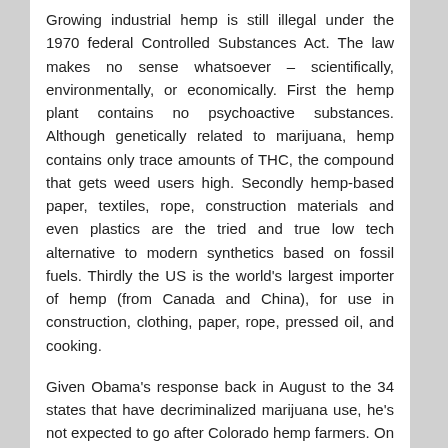Growing industrial hemp is still illegal under the 1970 federal Controlled Substances Act. The law makes no sense whatsoever – scientifically, environmentally, or economically. First the hemp plant contains no psychoactive substances. Although genetically related to marijuana, hemp contains only trace amounts of THC, the compound that gets weed users high. Secondly hemp-based paper, textiles, rope, construction materials and even plastics are the tried and true low tech alternative to modern synthetics based on fossil fuels. Thirdly the US is the world's largest importer of hemp (from Canada and China), for use in construction, clothing, paper, rope, pressed oil, and cooking.
Given Obama's response back in August to the 34 states that have decriminalized marijuana use, he's not expected to go after Colorado hemp farmers. On August 29, 2013, the president notified 94 US attorneys that states with recreational and medical marijuana (and hemp) laws can now let people use it, grow it under license, and purchase it from retail facilities — so long as possession by minors